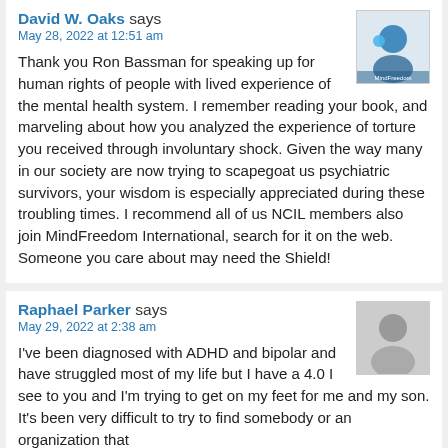David W. Oaks says
May 28, 2022 at 12:51 am
Thank you Ron Bassman for speaking up for human rights of people with lived experience of the mental health system. I remember reading your book, and marveling about how you analyzed the experience of torture you received through involuntary shock. Given the way many in our society are now trying to scapegoat us psychiatric survivors, your wisdom is especially appreciated during these troubling times. I recommend all of us NCIL members also join MindFreedom International, search for it on the web. Someone you care about may need the Shield!
Raphael Parker says
May 29, 2022 at 2:38 am
I've been diagnosed with ADHD and bipolar and have struggled most of my life but I have a 4.0 I see to you and I'm trying to get on my feet for me and my son. It's been very difficult to try to find somebody or an organization that